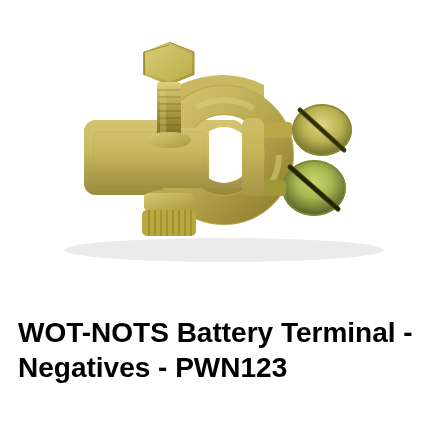[Figure (photo): A brass/gold-colored battery terminal clamp (WOT-NOTS Negative Battery Terminal PWN123) with a circular ring clamp in the center, a bolt and nut assembly on the left side, and two slotted screws on the right side for securing battery cables.]
WOT-NOTS Battery Terminal - Negatives - PWN123